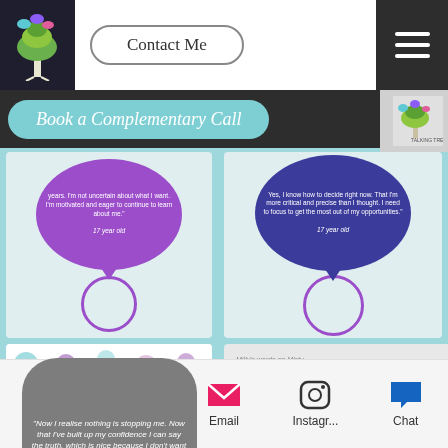[Figure (screenshot): Website header with tree logo, Contact Me button, and hamburger menu]
Contact Me
[Figure (screenshot): Book a Complementary Call banner button in teal/cyan rounded rectangle]
Book a Complementary Call
[Figure (screenshot): Grid of coaching testimonial quote cards with speech bubbles and polka dot backgrounds]
"years. I'm not uncertain about what I want. I'm motivated and eager to continue to learn about me." 17 year old
"Yes, I know how to decide right now. That I'm more critical and precise than I thought. I need to focus to get the most out of my opportunities." 17 year old
"Now I realise nothing is stopping me. Now that I've built up my confidence I can say the truth, which is nice because I don't want to lie."
I JUST WANTED TO THANK YOU FOR YESTERDAY'S SESSION. YOU WERE AMAZING! LIKE INCREDIBLE. WILLOW REALLY OPENED UP AND ARTICULATED HERSELF SO WELL. I HEARD STUFF ABOUT YOU SHE FEELS THAT I DIDN'T KNOW BEFORE AND WE HAVE AN INCREDIBLY CLOSE RELATIONSHIP.
Through coaching who have you become?
[Figure (logo): The Talking Tree logo]
Phone  LinkedIn  Email  Instagr...  Chat